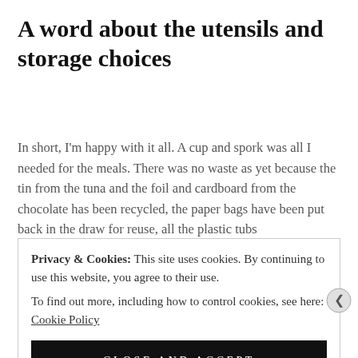A word about the utensils and storage choices
In short, I'm happy with it all. A cup and spork was all I needed for the meals. There was no waste as yet because the tin from the tuna and the foil and cardboard from the chocolate has been recycled, the paper bags have been put back in the draw for reuse, all the plastic tubs
Privacy & Cookies: This site uses cookies. By continuing to use this website, you agree to their use.
To find out more, including how to control cookies, see here: Cookie Policy
CLOSE AND ACCEPT